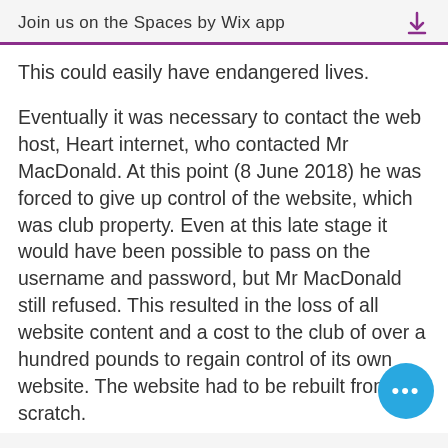Join us on the Spaces by Wix app
This could easily have endangered lives.
Eventually it was necessary to contact the web host, Heart internet, who contacted Mr MacDonald. At this point (8 June 2018) he was forced to give up control of the website, which was club property. Even at this late stage it would have been possible to pass on the username and password, but Mr MacDonald still refused. This resulted in the loss of all website content and a cost to the club of over a hundred pounds to regain control of its own website. The website had to be rebuilt from scratch.